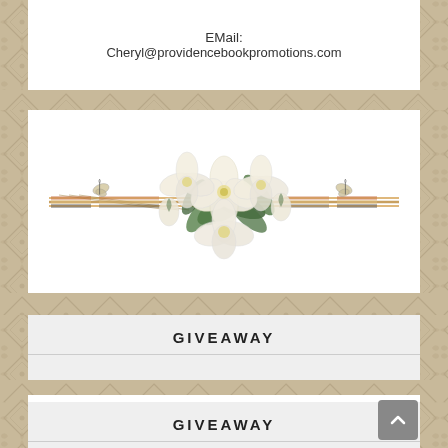EMail:
Cheryl@providencebookpromotions.com
[Figure (illustration): Decorative floral arrangement with white magnolia flowers, green leaves, and two butterflies on a striped horizontal banner]
GIVEAWAY
GIVEAWAY
[Figure (illustration): Partial view of decorative white magnolia flower arrangement at bottom of page]
[Figure (other): Scroll-to-top button (grey rounded square with upward arrow)]